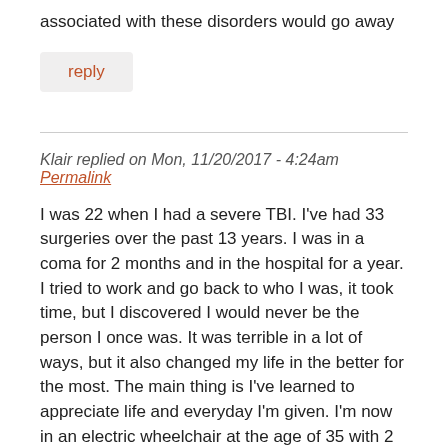associated with these disorders would go away
reply
Klair replied on Mon, 11/20/2017 - 4:24am Permalink
I was 22 when I had a severe TBI. I've had 33 surgeries over the past 13 years. I was in a coma for 2 months and in the hospital for a year. I tried to work and go back to who I was, it took time, but I discovered I would never be the person I once was. It was terrible in a lot of ways, but it also changed my life in the better for the most. The main thing is I've learned to appreciate life and everyday I'm given. I'm now in an electric wheelchair at the age of 35 with 2 teenagers but I continue learning new